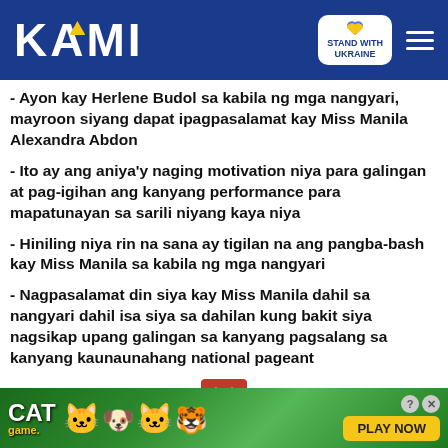KAMI — Stand with Ukraine
- Ayon kay Herlene Budol sa kabila ng mga nangyari, mayroon siyang dapat ipagpasalamat kay Miss Manila Alexandra Abdon
- Ito ay ang aniya'y naging motivation niya para galingan at pag-igihan ang kanyang performance para mapatunayan sa sarili niyang kaya niya
- Hiniling niya rin na sana ay tigilan na ang pangba-bash kay Miss Manila sa kabila ng mga nangyari
- Nagpasalamat din siya kay Miss Manila dahil sa nangyari dahil isa siya sa dahilan kung bakit siya nagsikap upang galingan sa kanyang pagsalang sa kanyang kaunaunahang national pageant
[Figure (screenshot): Cat Game advertisement banner at the bottom of the screen with play now button]